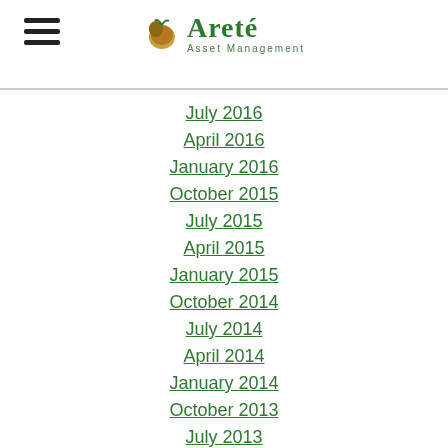Areté Asset Management
July 2016
April 2016
January 2016
October 2015
July 2015
April 2015
January 2015
October 2014
July 2014
April 2014
January 2014
October 2013
July 2013
April 2013
January 2013
October 2012
July 2012
April 2012